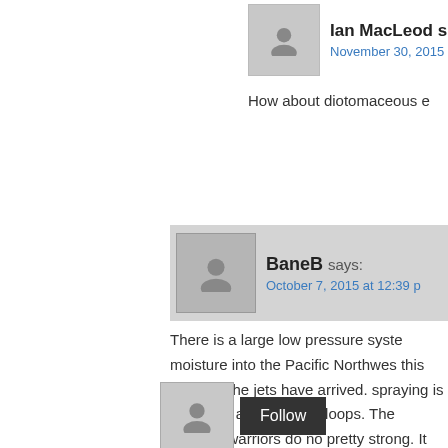Ian MacLeod says:
November 30, 2015
How about diotomaceous e
BaneB says:
October 7, 2015 at 12:39 p
There is a large low pressure syste moisture into the Pacific Northwes this morning the jets have arrived. spraying is occurring after a two w loops.  The weather warriors do no pretty strong.  It might be more tha psychopaths can diminished the ra the visible sat. Annimated loop.  It be prevented from sliding into a ve